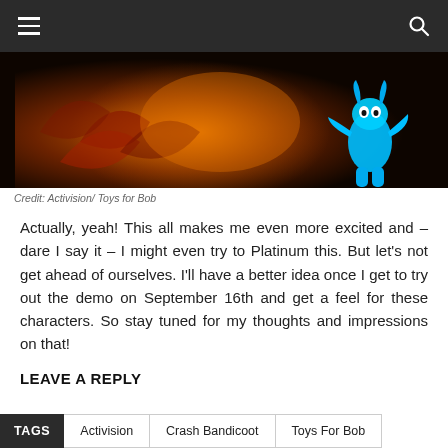Navigation bar with hamburger menu and search icon
[Figure (illustration): A dark fantasy game scene with orange/red glowing light and blue creature character on the right side. Crash Bandicoot related artwork from Activision/Toys for Bob.]
Credit: Activision/ Toys for Bob
Actually, yeah! This all makes me even more excited and – dare I say it – I might even try to Platinum this. But let's not get ahead of ourselves. I'll have a better idea once I get to try out the demo on September 16th and get a feel for these characters. So stay tuned for my thoughts and impressions on that!
LEAVE A REPLY
TAGS  Activision  Crash Bandicoot  Toys For Bob